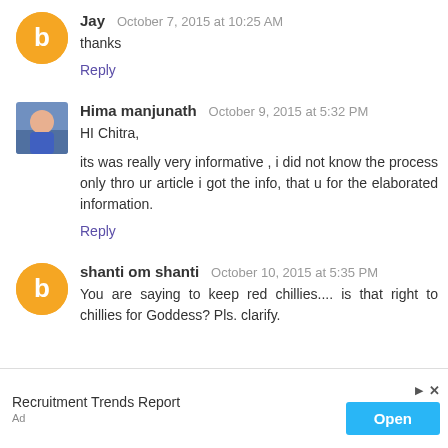Jay  October 7, 2015 at 10:25 AM
thanks
Reply
Hima manjunath  October 9, 2015 at 5:32 PM
HI Chitra,
its was really very informative , i did not know the process only thro ur article i got the info, that u for the elaborated information.
Reply
shanti om shanti  October 10, 2015 at 5:35 PM
You are saying to keep red chillies.... is that right to chillies for Goddess? Pls. clarify.
[Figure (infographic): Ad banner: Recruitment Trends Report with Open button]